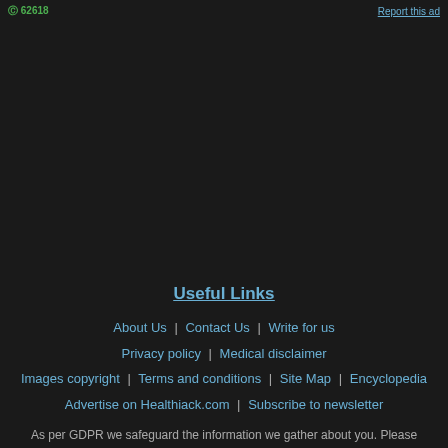© 62618   Report this ad
Useful Links
About Us | Contact Us | Write for us
Privacy policy | Medical disclaimer
Images copyright | Terms and conditions | Site Map | Encyclopedia
Advertise on Healthiack.com | Subscribe to newsletter
As per GDPR we safeguard the information we gather about you. Please